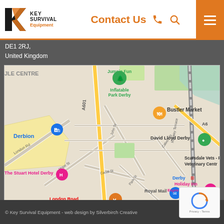Key Survival Equipment - Contact Us
DE1 2RJ,
United Kingdom
[Figure (map): Google Maps screenshot showing Derby city centre area, with landmarks including Bustler Market, Derbion, David Lloyd Derby, The Stuart Hotel Derby, Royal Mail, Derby train station, Holiday Inn Express Derby - Pride..., Scarsdale Vets - Pride Veterinary Centre, Jumpin Fun Inflatable Park Derby, London Road Hotel. Streets visible: London Rd, Hope St, John St, Canal St, Park St, Calvert St, Railway Terrace, A601, A6.]
© Key Survival Equipment - web design by Silverbirch Creative